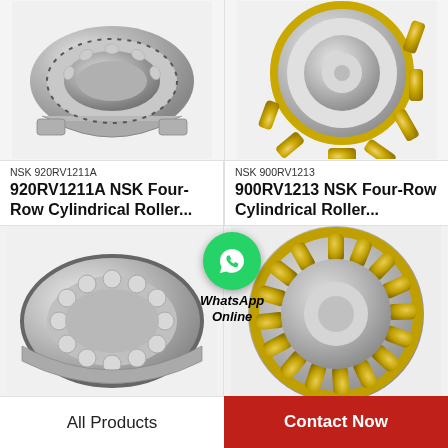[Figure (photo): NSK 920RV1211A four-row cylindrical roller bearing, cutaway view showing internal construction, silver/metallic]
NSK 920RV1211A
920RV1211A NSK Four-Row Cylindrical Roller...
[Figure (photo): NSK 900RV1213 four-row cylindrical roller bearing with gold/brass cage detail, front view]
NSK 900RV1213
900RV1213 NSK Four-Row Cylindrical Roller...
[Figure (photo): NSK cylindrical roller bearing bottom-left, cutaway showing rollers and cage, silver metallic]
[Figure (photo): NSK cylindrical roller bearing bottom-right, front view with gold/brass cage elements]
[Figure (logo): WhatsApp logo green circle with phone icon and text 'WhatsApp Online']
All Products
Contact Now